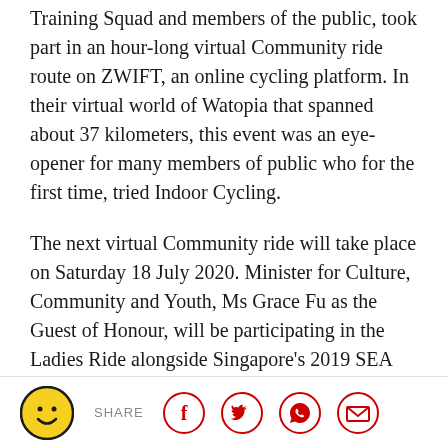Training Squad and members of the public, took part in an hour-long virtual Community ride route on ZWIFT, an online cycling platform. In their virtual world of Watopia that spanned about 37 kilometers, this event was an eye-opener for many members of public who for the first time, tried Indoor Cycling.
The next virtual Community ride will take place on Saturday 18 July 2020. Minister for Culture, Community and Youth, Ms Grace Fu as the Guest of Honour, will be participating in the Ladies Ride alongside Singapore's 2019 SEA Games Silver Medallist, Luo Yiwei on 18 July 2020. More information on the Community ride can be found in Annex A. Registration for all community events is free and interested parties may visit this link to sign
SHARE